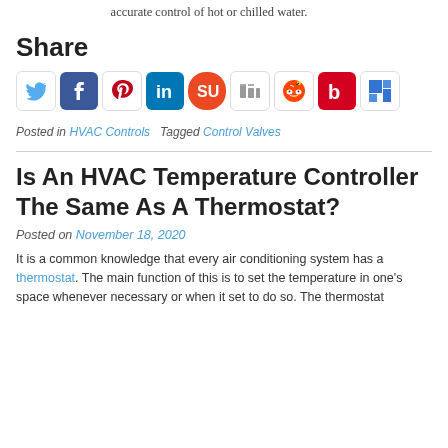accurate control of hot or chilled water.
Share
[Figure (other): Row of social media sharing icons: Twitter, Facebook, Pinterest, LinkedIn, StumbleUpon, Digg, Reddit, Bebo, Delicious]
Posted in HVAC Controls   Tagged Control Valves
Is An HVAC Temperature Controller The Same As A Thermostat?
Posted on November 18, 2020
It is a common knowledge that every air conditioning system has a thermostat. The main function of this is to set the temperature in one's space whenever necessary or when it set to do so. The thermostat